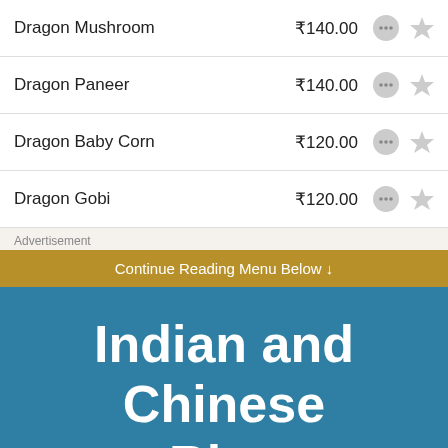Dragon Mushroom ₹140.00
Dragon Paneer ₹140.00
Dragon Baby Corn ₹120.00
Dragon Gobi ₹120.00
Advertisement
Continue Reading Menu Below ↓
Indian and Chinese Rice
Veg Fried Rice ₹120.00
Gobi Fried Rice ₹130.00
Garlic Fried Rice ₹130.00